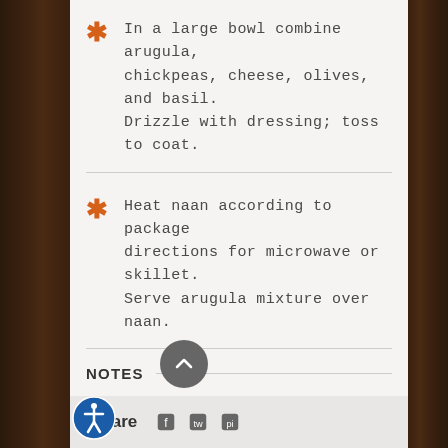In a large bowl combine arugula, chickpeas, cheese, olives, and basil. Drizzle with dressing; toss to coat.
Heat naan according to package directions for microwave or skillet. Serve arugula mixture over naan.
NOTES
Yield: 6 cups arugula mixture + 4 mini naan
Share